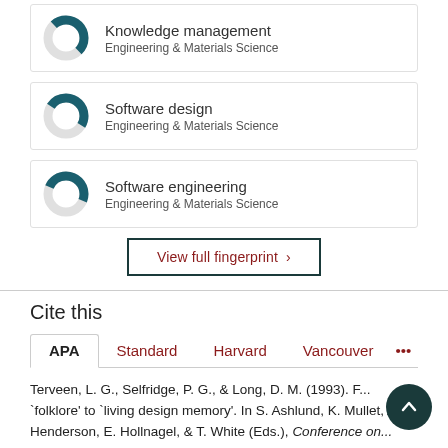[Figure (donut-chart): Donut chart showing approximately 50% fill for Knowledge management, Engineering & Materials Science]
Knowledge management
Engineering & Materials Science
[Figure (donut-chart): Donut chart showing approximately 47% fill for Software design, Engineering & Materials Science]
Software design
Engineering & Materials Science
[Figure (donut-chart): Donut chart showing approximately 45% fill for Software engineering, Engineering & Materials Science]
Software engineering
Engineering & Materials Science
View full fingerprint ›
Cite this
APA  Standard  Harvard  Vancouver  ...
Terveen, L. G., Selfridge, P. G., & Long, D. M. (1993). F... `folklore' to `living design memory'. In S. Ashlund, K. Mullet, A. Henderson, E. Hollnagel, & T. White (Eds.), Conference on...